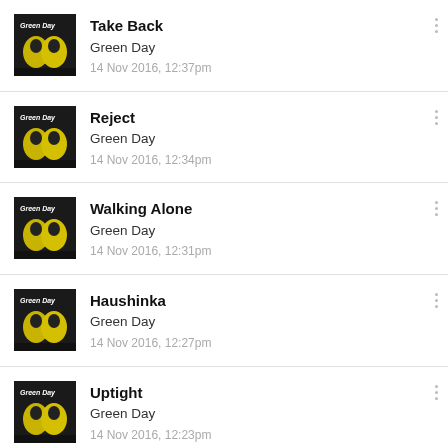Take Back
Green Day
14 Nov 2016, 12:37pm
Reject
Green Day
14 Nov 2016, 12:34pm
Walking Alone
Green Day
14 Nov 2016, 12:31pm
Haushinka
Green Day
14 Nov 2016, 12:27pm
Uptight
Green Day
14 Nov 2016, 12:23pm